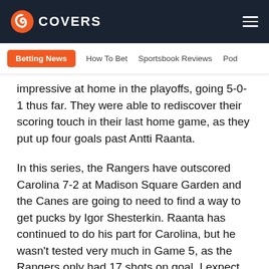COVERS
Betting News   How To Bet   Sportsbook Reviews   Pod
impressive at home in the playoffs, going 5-0-1 thus far. They were able to rediscover their scoring touch in their last home game, as they put up four goals past Antti Raanta.
In this series, the Rangers have outscored Carolina 7-2 at Madison Square Garden and the Canes are going to need to find a way to get pucks by Igor Shesterkin. Raanta has continued to do his part for Carolina, but he wasn't tested very much in Game 5, as the Rangers only had 17 shots on goal. I expect New York to show a